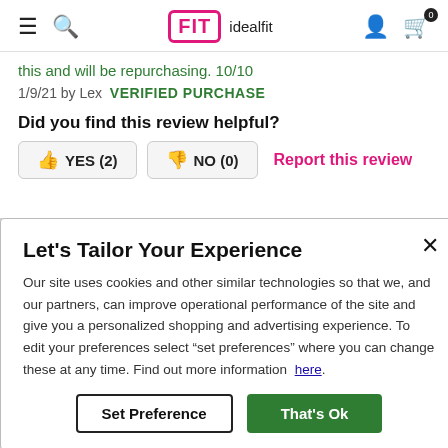FIT idealfit — navigation header with hamburger, search, logo, user icon, cart (0)
this and will be repurchasing. 10/10
1/9/21 by Lex  VERIFIED PURCHASE
Did you find this review helpful?
YES (2)  NO (0)  Report this review
Let's Tailor Your Experience
Our site uses cookies and other similar technologies so that we, and our partners, can improve operational performance of the site and give you a personalized shopping and advertising experience. To edit your preferences select "set preferences" where you can change these at any time. Find out more information here.
Set Preference   That's Ok